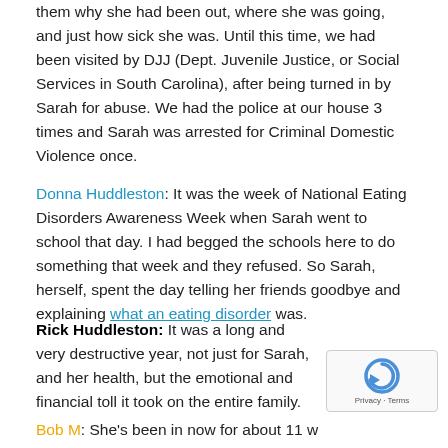them why she had been out, where she was going, and just how sick she was. Until this time, we had been visited by DJJ (Dept. Juvenile Justice, or Social Services in South Carolina), after being turned in by Sarah for abuse. We had the police at our house 3 times and Sarah was arrested for Criminal Domestic Violence once.
Donna Huddleston: It was the week of National Eating Disorders Awareness Week when Sarah went to school that day. I had begged the schools here to do something that week and they refused. So Sarah, herself, spent the day telling her friends goodbye and explaining what an eating disorder was.
Rick Huddleston: It was a long and very destructive year, not just for Sarah, and her health, but the emotional and financial toll it took on the entire family.
Bob M: She's been in now for about 11 weeks. Wha...